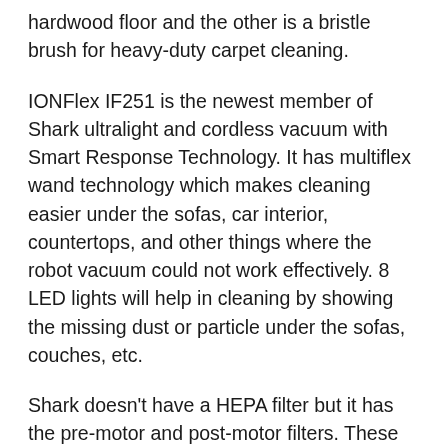hardwood floor and the other is a bristle brush for heavy-duty carpet cleaning.
IONFlex IF251 is the newest member of Shark ultralight and cordless vacuum with Smart Response Technology. It has multiflex wand technology which makes cleaning easier under the sofas, car interior, countertops, and other things where the robot vacuum could not work effectively. 8 LED lights will help in cleaning by showing the missing dust or particle under the sofas, couches, etc.
Shark doesn't have a HEPA filter but it has the pre-motor and post-motor filters. These filters effectively clean the hardwood floor and they are washable filters. It has two lithium-ion battery which work effectively last for 30 mins.